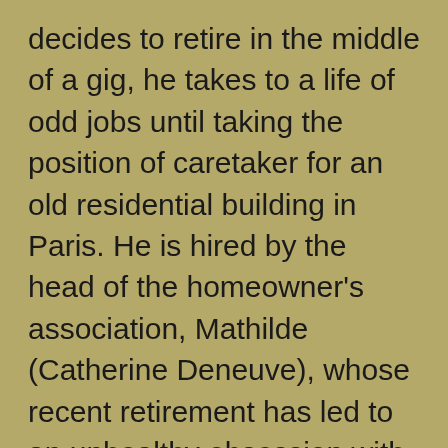decides to retire in the middle of a gig, he takes to a life of odd jobs until taking the position of caretaker for an old residential building in Paris. He is hired by the head of the homeowner's association, Mathilde (Catherine Deneuve), whose recent retirement has led to an unhealthy obsession with the crack in her living room ceiling. These two inevitably build a kinship with each other, though it plays out in a way that is somewhat unexpected in an otherwise predictable narrative.